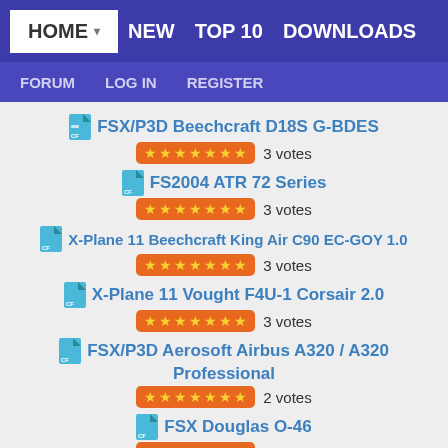HOME NEW TOP 10 DOWNLOADS FORUM LOG IN REGISTER
FSX/P3D Beechcraft D18S G-BDES — 3 votes
FS2004 ATR 72 Series — 3 votes
X-Plane 11 Beechcraft King Air C90 EC-GOY 1.0 — 3 votes
X-Plane 11 Vought F4U-1 Corsair 2.0 — 3 votes
FSX/P3D Aerosoft Airbus A320 / A320 Professional — 2 votes
FSX Douglas O-46 — 2 votes
FSX Waco SRE Aristocrat — 2 votes
FSX Bell AH-1W Super Cobra